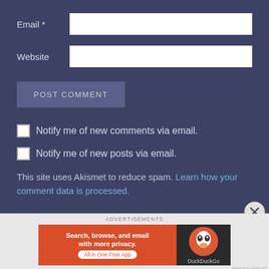Email *
Website
POST COMMENT
Notify me of new comments via email.
Notify me of new posts via email.
This site uses Akismet to reduce spam. Learn how your comment data is processed.
[Figure (screenshot): DuckDuckGo advertisement banner: orange left side with text 'Search, browse, and email with more privacy. All in One Free App', dark right side with DuckDuckGo duck logo]